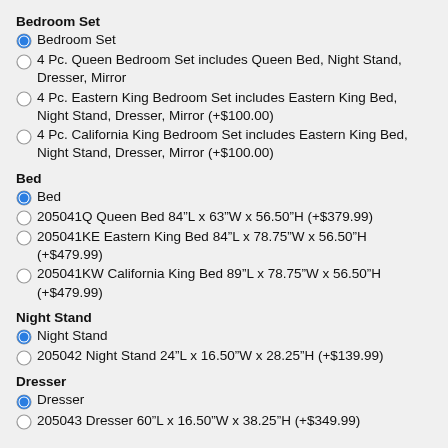Bedroom Set
Bedroom Set (selected)
4 Pc. Queen Bedroom Set includes Queen Bed, Night Stand, Dresser, Mirror
4 Pc. Eastern King Bedroom Set includes Eastern King Bed, Night Stand, Dresser, Mirror (+$100.00)
4 Pc. California King Bedroom Set includes Eastern King Bed, Night Stand, Dresser, Mirror (+$100.00)
Bed
Bed (selected)
205041Q Queen Bed 84"L x 63"W x 56.50"H (+$379.99)
205041KE Eastern King Bed 84"L x 78.75"W x 56.50"H (+$479.99)
205041KW California King Bed 89"L x 78.75"W x 56.50"H (+$479.99)
Night Stand
Night Stand (selected)
205042 Night Stand 24"L x 16.50"W x 28.25"H (+$139.99)
Dresser
Dresser (selected)
205043 Dresser 60"L x 16.50"W x 38.25"H (+$349.99)